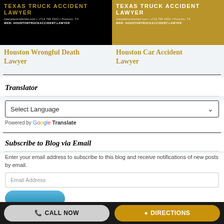[Figure (screenshot): Texas Truck Accident Lawyer banner - black background with gold title text, contact info]
Houston Wrongful Death Lawyer
[Figure (screenshot): Texas Truck Accident Lawyer banner - gold background with white title text, contact info]
Houston Car Accident Lawyer
Translator
Select Language
Powered by Google Translate
Subscribe to Blog via Email
Enter your email address to subscribe to this blog and receive notifications of new posts by email.
Email Address